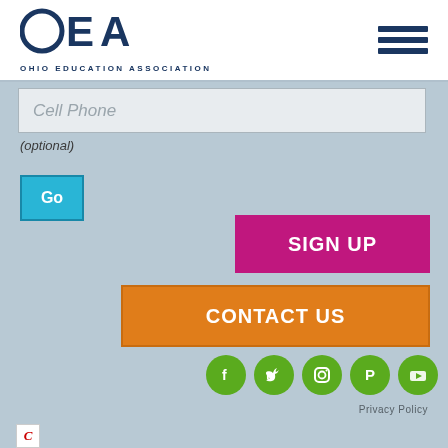[Figure (logo): OEA (Ohio Education Association) logo with circular O, E, A letters in navy blue, and tagline 'OHIO EDUCATION ASSOCIATION' below]
[Figure (other): Hamburger menu icon with three horizontal navy blue bars]
Cell Phone
(optional)
Go
SIGN UP
CONTACT US
[Figure (other): Five green circular social media icons: Facebook, Twitter, Instagram, Pinterest, YouTube]
Privacy Policy